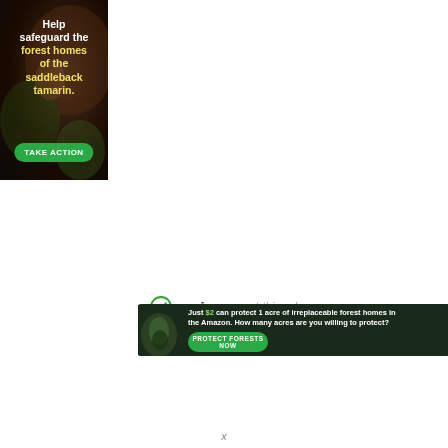[Figure (illustration): Left-side advertisement banner with dark forest/animal background. Text reads 'Help safeguard the forest homes of the saddleback tamarin.' with a green 'TAKE ACTION' button.]
ezoic   report this ad
[Figure (illustration): Bottom horizontal advertisement banner with dark forest background and animal image. Text reads 'Just $2 can protect 1 acre of irreplaceable forest homes in the Amazon. How many acres are you willing to protect?' with a green 'PROTECT FORESTS NOW' button.]
x